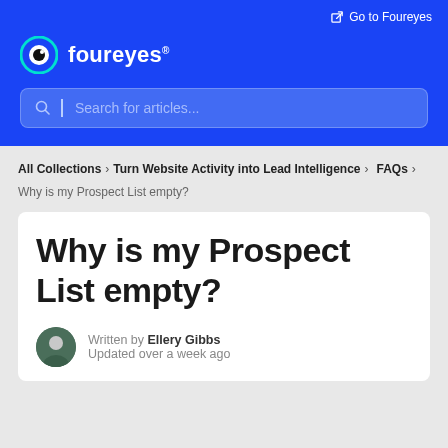Go to Foureyes
[Figure (logo): Foureyes logo — eye icon with teal outline and black pupil, followed by 'foureyes' in white text]
Search for articles...
All Collections > Turn Website Activity into Lead Intelligence > FAQs > Why is my Prospect List empty?
Why is my Prospect List empty?
Written by Ellery Gibbs
Updated over a week ago